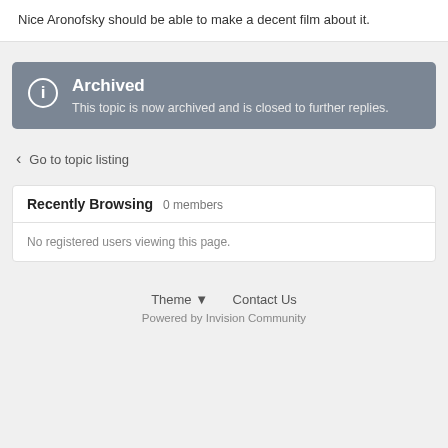Nice Aronofsky should be able to make a decent film about it.
Archived — This topic is now archived and is closed to further replies.
Go to topic listing
Recently Browsing   0 members
No registered users viewing this page.
Theme ▼   Contact Us
Powered by Invision Community